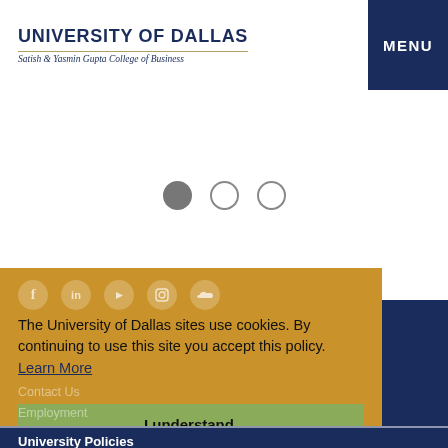UNIVERSITY OF DALLAS
Satish & Yasmin Gupta College of Business
MENU
[Figure (other): Slideshow pagination dots — one filled grey circle and two empty grey circles]
[Figure (other): Social media icons: Facebook, LinkedIn, YouTube, Instagram, SoundCloud — white circles on gold background]
The University of Dallas sites use cookies. By continuing to use this site you accept this policy.  Learn More
Contact Us
Visit Us
I understand.
Employment
University Policies